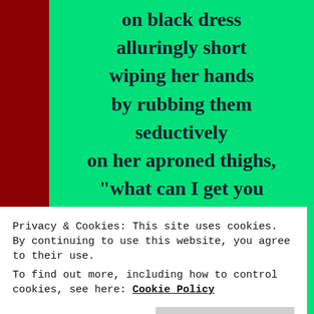on black dress alluringly short wiping her hands by rubbing them seductively on her aproned thighs, “what can I get you lads?” … ribaldry …
Privacy & Cookies: This site uses cookies. By continuing to use this website, you agree to their use. To find out more, including how to control cookies, see here: Cookie Policy
smile;